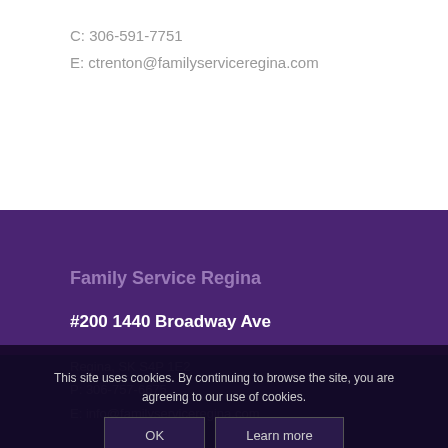C: 306-591-7751
E: ctrenton@familyserviceregina.com
Family Service Regina
#200 1440 Broadway Ave
Regina, SK S4P 1E2
P: 306-757-6675
E: info@familyserviceregina.com
This site uses cookies. By continuing to browse the site, you are agreeing to our use of cookies.
OK   Learn more